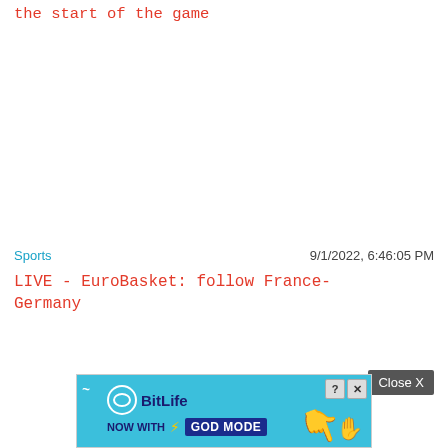the start of the game
Sports
9/1/2022, 6:46:05 PM
LIVE - EuroBasket: follow France-Germany
Close X
[Figure (screenshot): BitLife advertisement banner with text NOW WITH GOD MODE, lightning bolt icon, and pointing hand graphic on a light blue background]